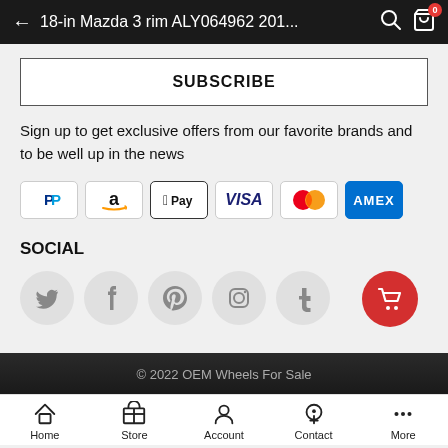← 18-in Mazda 3 rim ALY064962 201...
SUBSCRIBE
Sign up to get exclusive offers from our favorite brands and to be well up in the news
[Figure (other): Payment method icons: PayPal, Amazon, Apple Pay, Visa, Mastercard, American Express]
SOCIAL
[Figure (other): Social media icons: Twitter, Facebook, Pinterest, Instagram, Tumblr; red cart button]
© 2022 OEM Wheels For Sale
Home  Store  Account  Contact  More